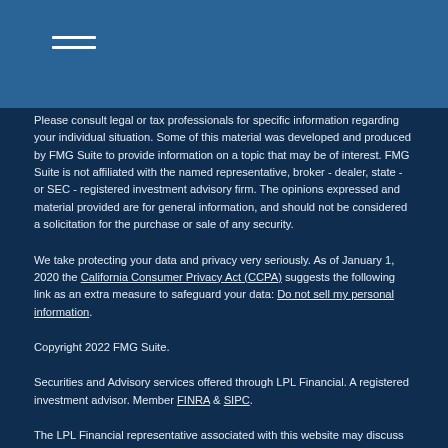Please consult legal or tax professionals for specific information regarding your individual situation. Some of this material was developed and produced by FMG Suite to provide information on a topic that may be of interest. FMG Suite is not affiliated with the named representative, broker - dealer, state - or SEC - registered investment advisory firm. The opinions expressed and material provided are for general information, and should not be considered a solicitation for the purchase or sale of any security.
We take protecting your data and privacy very seriously. As of January 1, 2020 the California Consumer Privacy Act (CCPA) suggests the following link as an extra measure to safeguard your data: Do not sell my personal information.
Copyright 2022 FMG Suite.
Securities and Advisory services offered through LPL Financial. A registered investment advisor. Member FINRA & SIPC.
The LPL Financial representative associated with this website may discuss and/or transact securities business only with residents of the following states: AZ, CA, CO, FL, GA, IL, IN, IA, KS, KY, MI, MN, MO, NV, NY, NC, OH, OR, PA, SC, TX, WA, WI
Kirkby, Phelan & Associates CPA, LLC is not affiliated nor endorsed by LPL Financial.